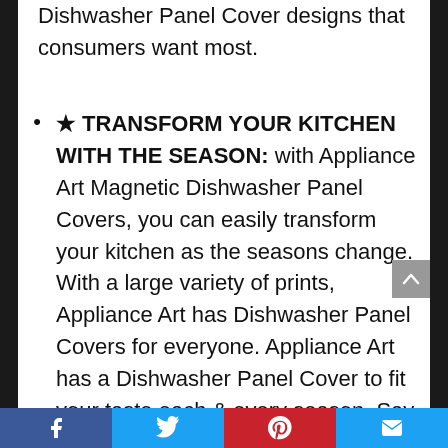Dishwasher Panel Cover designs that consumers want most.
★ TRANSFORM YOUR KITCHEN WITH THE SEASON: with Appliance Art Magnetic Dishwasher Panel Covers, you can easily transform your kitchen as the seasons change. With a large variety of prints, Appliance Art has Dishwasher Panel Covers for everyone. Appliance Art has a Dishwasher Panel Cover to fit your taste each & every season. Say goodbye to drab & boring kitchens with new Dishwasher Panel Covers from Appliance Art.
Facebook | Twitter | Pinterest | Email